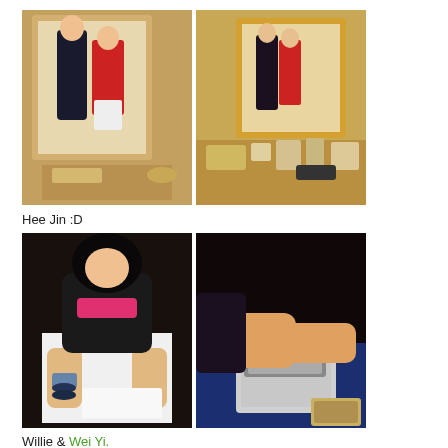[Figure (photo): Two photos side by side: left photo shows two girls taking a mirror selfie in a bathroom, one in red top and white shorts; right photo shows a wider bathroom scene with a mirror reflecting the same two girls.]
Hee Jin :D
[Figure (photo): Two photos side by side: left photo shows a girl with dark hair sitting cross-legged on the floor with tattoo visible; right photo shows a girl using a laptop on a bed/floor.]
Willie & Wei Yi.